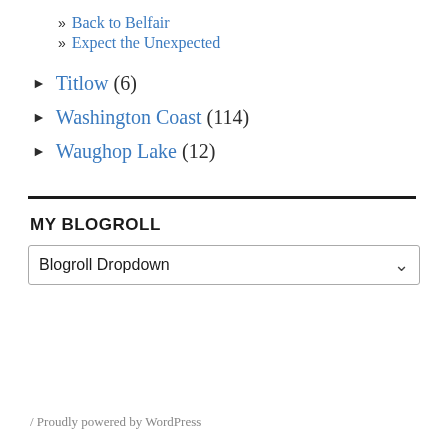» Back to Belfair
» Expect the Unexpected
► Titlow (6)
► Washington Coast (114)
► Waughop Lake (12)
MY BLOGROLL
Blogroll Dropdown
/ Proudly powered by WordPress